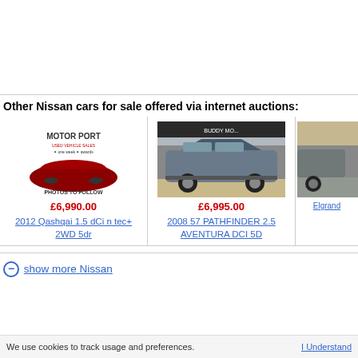Other Nissan cars for sale offered via internet auctions:
[Figure (photo): Motor Port used vehicle sales logo with car under red cover, text PHOTOS TO FOLLOW]
£6,990.00
2012 Qashqai 1.5 dCi n tec+ 2WD 5dr
[Figure (photo): Photo of a grey Nissan Pathfinder SUV parked on gravel]
£6,995.00
2008 57 PATHFINDER 2.5 AVENTURA DCI 5D
[Figure (photo): Partial photo of another Nissan vehicle, cropped]
Elgrand
show more Nissan
We use cookies to track usage and preferences.
I Understand